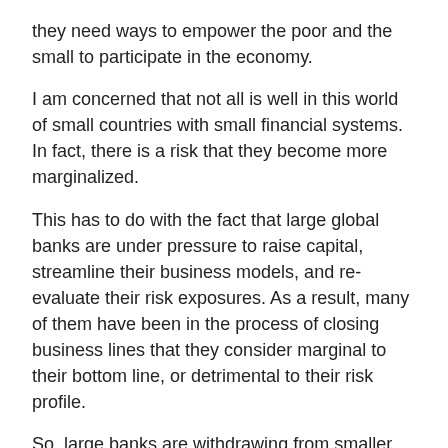they need ways to empower the poor and the small to participate in the economy.
I am concerned that not all is well in this world of small countries with small financial systems. In fact, there is a risk that they become more marginalized.
This has to do with the fact that large global banks are under pressure to raise capital, streamline their business models, and re-evaluate their risk exposures. As a result, many of them have been in the process of closing business lines that they consider marginal to their bottom line, or detrimental to their risk profile.
So, large banks are withdrawing from smaller countries. This is perhaps most evident in the decline of correspondent banking relationships – a serious concern for those countries that have few avenues for participating in the global payment and settlement systems.